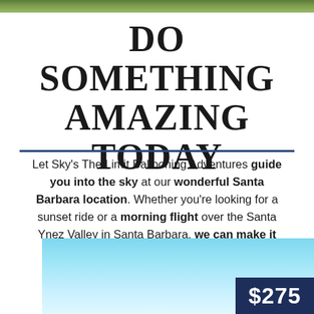[Figure (illustration): Green grass/foliage banner strip across the top of the page]
DO SOMETHING AMAZING TODAY
Let Sky's The Limit Ballooning Adventures guide you into the sky at our wonderful Santa Barbara location. Whether you're looking for a sunset ride or a morning flight over the Santa Ynez Valley in Santa Barbara, we can make it happen.
[Figure (photo): Sky and clouds background image in light blue tones with a dark navy price box in the lower right showing $275]